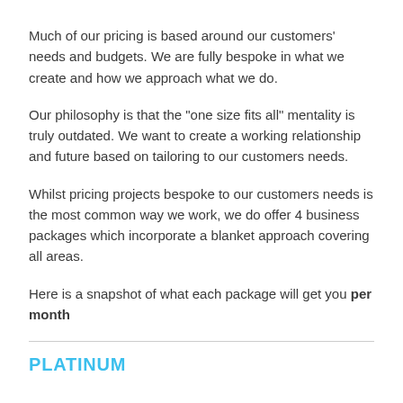Much of our pricing is based around our customers' needs and budgets. We are fully bespoke in what we create and how we approach what we do.
Our philosophy is that the "one size fits all" mentality is truly outdated. We want to create a working relationship and future based on tailoring to our customers needs.
Whilst pricing projects bespoke to our customers needs is the most common way we work, we do offer 4 business packages which incorporate a blanket approach covering all areas.
Here is a snapshot of what each package will get you per month
PLATINUM